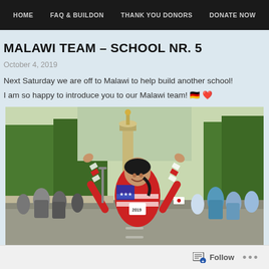HOME  FAQ & BUILDON  THANK YOU DONORS  DONATE NOW
MALAWI TEAM – SCHOOL NR. 5
October 4, 2019
Next Saturday we are off to Malawi to help build another school!
I am so happy to introduce you to our Malawi team! 🇩🇪 ❤
[Figure (photo): Woman in red-white-blue American flag running outfit with arms raised at a marathon race, with the Berlin Victory Column in the background, surrounded by other runners on a tree-lined road.]
Follow  ...